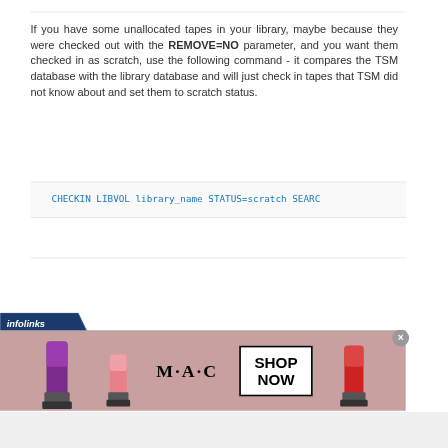If you have some unallocated tapes in your library, maybe because they were checked out with the REMOVE=NO parameter, and you want them checked in as scratch, use the following command - it compares the TSM database with the library database and will just check in tapes that TSM did not know about and set them to scratch status.
CHECKIN LIBVOL library_name STATUS=scratch SEARC
[Figure (other): Infolinks advertisement banner for M·A·C cosmetics showing lipsticks and a 'SHOP NOW' button]